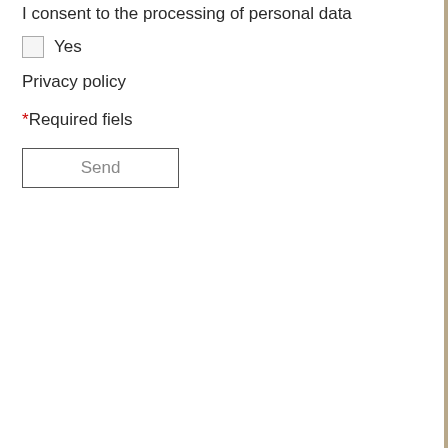I consent to the processing of personal data
Yes
Privacy policy
*Required fiels
Send